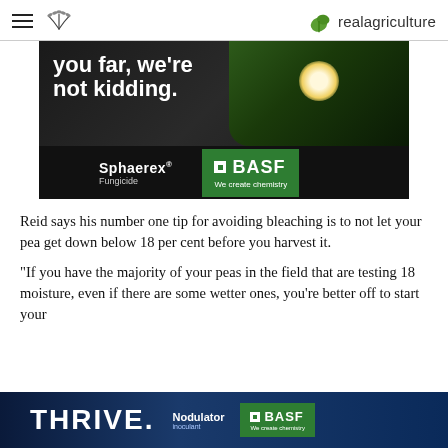realagriculture
[Figure (photo): BASF Sphaerex Fungicide advertisement. Dark background with tropical plant and white flowers. Text reads 'you far, we’re not kidding.' with Sphaerex Fungicide branding and BASF We create chemistry logo on green background.]
Reid says his number one tip for avoiding bleaching is to not let your pea get down below 18 per cent before you harvest it.
“If you have the majority of your peas in the field that are testing 18 moisture, even if there are some wetter ones, you’re better off to start your
[Figure (photo): BASF THRIVE Nodulator advertisement. Dark blue background with bold white THRIVE text, Nodulator product branding, and BASF We create chemistry logo in green box.]